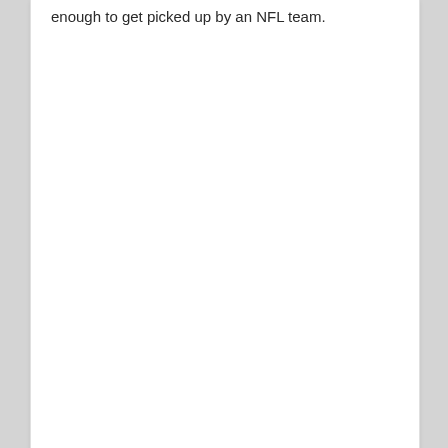enough to get picked up by an NFL team.
Following the Bears from the shores of the Chesapeake Bay.